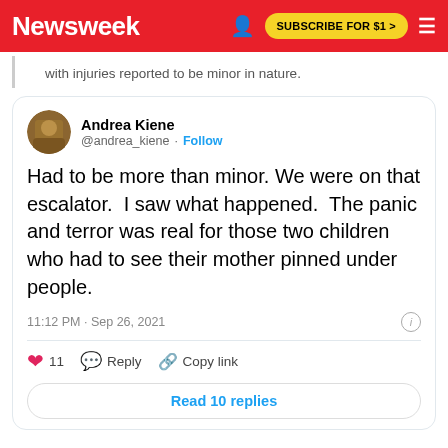Newsweek — SUBSCRIBE FOR $1 >
with injuries reported to be minor in nature.
[Figure (screenshot): Tweet from Andrea Kiene (@andrea_kiene) reading: Had to be more than minor. We were on that escalator. I saw what happened. The panic and terror was real for those two children who had to see their mother pinned under people. Posted at 11:12 PM · Sep 26, 2021. 11 likes. Reply and Copy link actions. Read 10 replies button.]
"There was a whole bunch of commotion